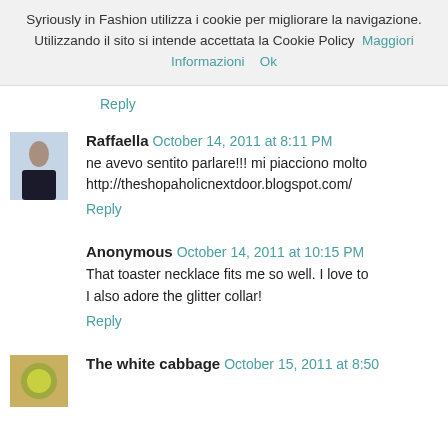Syriously in Fashion utilizza i cookie per migliorare la navigazione. Utilizzando il sito si intende accettata la Cookie Policy  Maggiori Informazioni    Ok
Reply
Raffaella  October 14, 2011 at 8:11 PM
ne avevo sentito parlare!!! mi piacciono molto
http://theshopaholicnextdoor.blogspot.com/
Reply
Anonymous  October 14, 2011 at 10:15 PM
That toaster necklace fits me so well. I love to
I also adore the glitter collar!
Reply
The white cabbage  October 15, 2011 at 8:50